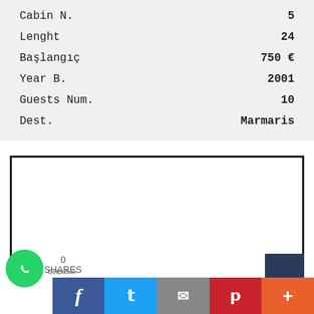| Field | Value |
| --- | --- |
| Cabin N. | 5 |
| Lenght | 24 |
| Başlangıç | 750 € |
| Year B. | 2001 |
| Guests Num. | 10 |
| Dest. | Marmaris |
[Figure (other): White bordered content box (advertisement or map placeholder)]
[Figure (other): Social sharing bar with WhatsApp button, Facebook, Twitter, Email, Pinterest, More buttons and share count showing 0 SHARES]